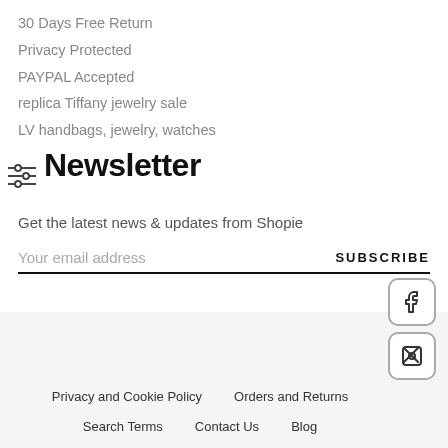30 Days Free Return
Privacy Protected
PAYPAL Accepted
replica Tiffany jewelry sale
LV handbags, jewelry, watches
Newsletter
Get the latest news & updates from Shopie
Your email address    SUBSCRIBE
Privacy and Cookie Policy   Orders and Returns   Search Terms   Contact Us   Blog